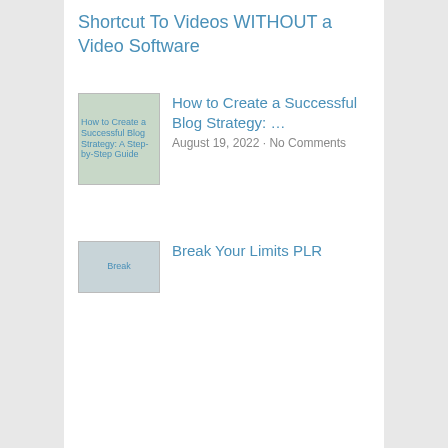Shortcut To Videos WITHOUT a Video Software
[Figure (photo): Thumbnail image for 'How to Create a Successful Blog Strategy: A Step-by-Step Guide' article]
How to Create a Successful Blog Strategy: …
August 19, 2022 · No Comments
[Figure (photo): Thumbnail image for 'Break Your Limits PLR' article]
Break Your Limits PLR